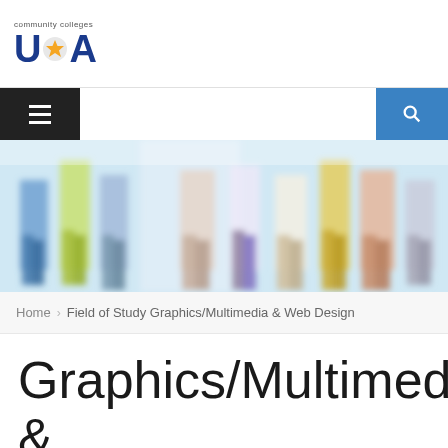[Figure (logo): Community Colleges USA logo with stylized text and star]
[Figure (other): Navigation bar with hamburger menu icon on left (dark background) and search icon on right (blue background)]
[Figure (photo): Blurred motion photo of people walking, showing only legs and lower bodies in colorful clothing]
Home › Field of Study Graphics/Multimedia & Web Design
Graphics/Multimedia & Web Design
STUDY GRAPHICS/MULTIMEDIA & WEB DESIGN IN THE